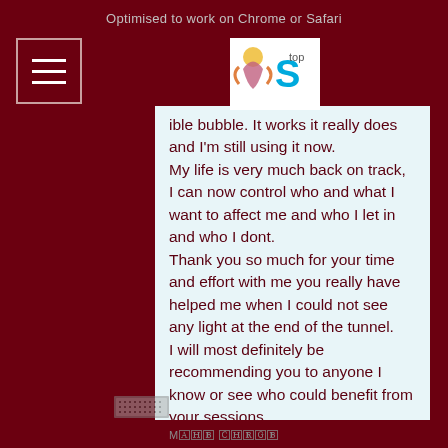Optimised to work on Chrome or Safari
[Figure (logo): Logo with stylized icon and text 'Stop']
bubble. It works it really does and I'm still using it now.
My life is very much back on track,
I can now control who and what I want to affect me and who I let in and who I dont.
Thank you so much for your time and effort with me you really have helped me when I could not see any light at the end of the tunnel.
I will most definitely be recommending you to anyone I know or see who could benefit from your sessions.